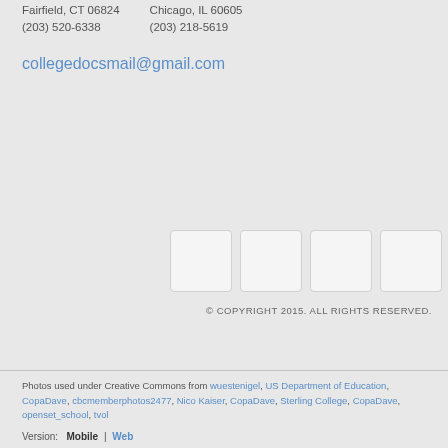Fairfield, CT 06824
(203) 520-6338

Chicago, IL 60605
(203) 218-5619
collegedocsmail@gmail.com
[Figure (other): Five social media icon placeholder boxes]
© COPYRIGHT 2015. ALL RIGHTS RESERVED.
Photos used under Creative Commons from wuestenigel, US Department of Education, CopaDave, cbcmemberphotos2477, Nico Kaiser, CopaDave, Sterling College, CopaDave, openset_school, tvol
Version: Mobile | Web